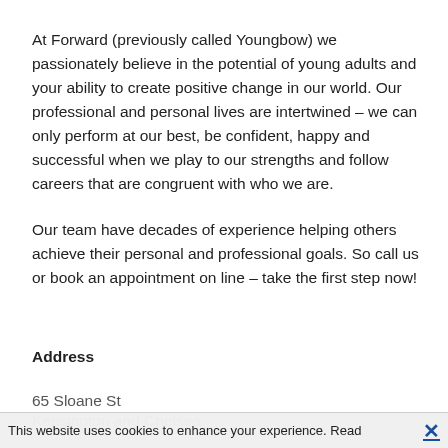At Forward (previously called Youngbow) we passionately believe in the potential of young adults and your ability to create positive change in our world. Our professional and personal lives are intertwined – we can only perform at our best, be confident, happy and successful when we play to our strengths and follow careers that are congruent with who we are.
Our team have decades of experience helping others achieve their personal and professional goals. So call us or book an appointment on line – take the first step now!
Address
65 Sloane St
Kensington and Chelsea
This website uses cookies to enhance your experience. Read